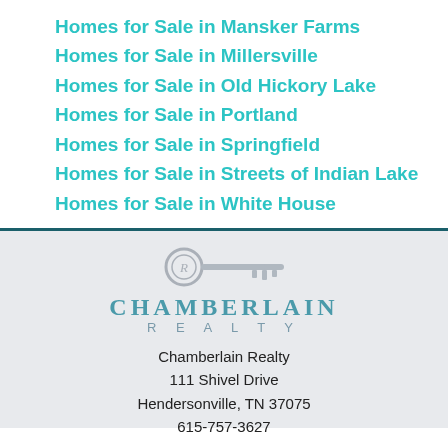Homes for Sale in Mansker Farms
Homes for Sale in Millersville
Homes for Sale in Old Hickory Lake
Homes for Sale in Portland
Homes for Sale in Springfield
Homes for Sale in Streets of Indian Lake
Homes for Sale in White House
[Figure (logo): Chamberlain Realty key logo with decorative key icon above the text CHAMBERLAIN REALTY]
Chamberlain Realty
111 Shivel Drive
Hendersonville, TN 37075
615-757-3627